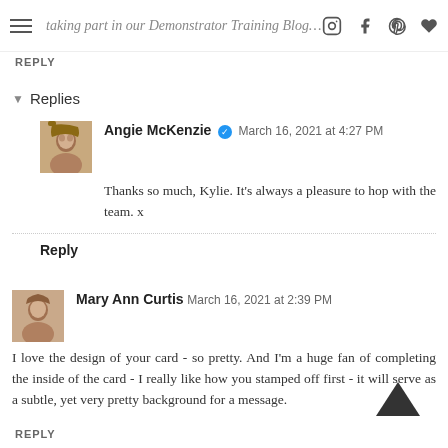taking part in our Demonstrator Training Blog Hop this month
REPLY
Replies
Angie McKenzie ✓ March 16, 2021 at 4:27 PM
Thanks so much, Kylie. It's always a pleasure to hop with the team. x
Reply
Mary Ann Curtis March 16, 2021 at 2:39 PM
I love the design of your card - so pretty. And I'm a huge fan of completing the inside of the card - I really like how you stamped off first - it will serve as a subtle, yet very pretty background for a message.
REPLY